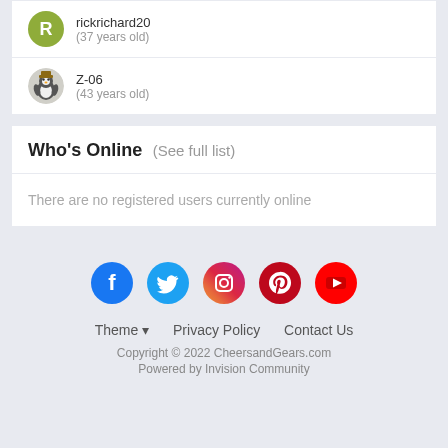rickrichard20 (37 years old)
Z-06 (43 years old)
Who's Online (See full list)
There are no registered users currently online
[Figure (infographic): Social media icons: Facebook, Twitter, Instagram, Pinterest, YouTube]
Theme ▾   Privacy Policy   Contact Us
Copyright © 2022 CheersandGears.com
Powered by Invision Community